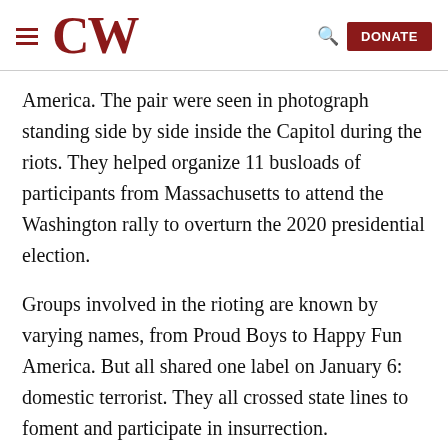CW | DONATE
America. The pair were seen in photograph standing side by side inside the Capitol during the riots. They helped organize 11 busloads of participants from Massachusetts to attend the Washington rally to overturn the 2020 presidential election.
Groups involved in the rioting are known by varying names, from Proud Boys to Happy Fun America. But all shared one label on January 6: domestic terrorist. They all crossed state lines to foment and participate in insurrection.
As David Brooks wrote in the New York Times, “You can’t argue with people who have their own separate